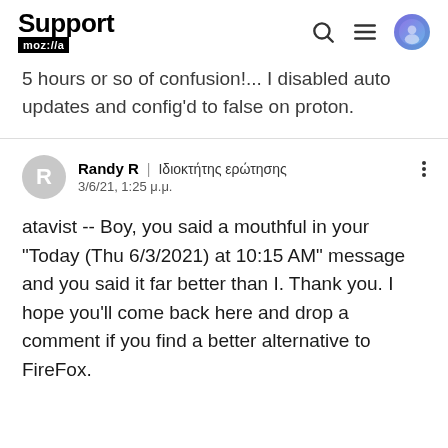Support moz://a
5 hours or so of confusion!... I disabled auto updates and config'd to false on proton.
Randy R | Ιδιοκτήτης ερώτησης
3/6/21, 1:25 μ.μ.
atavist -- Boy, you said a mouthful in your "Today (Thu 6/3/2021) at 10:15 AM" message and you said it far better than I. Thank you. I hope you'll come back here and drop a comment if you find a better alternative to FireFox.